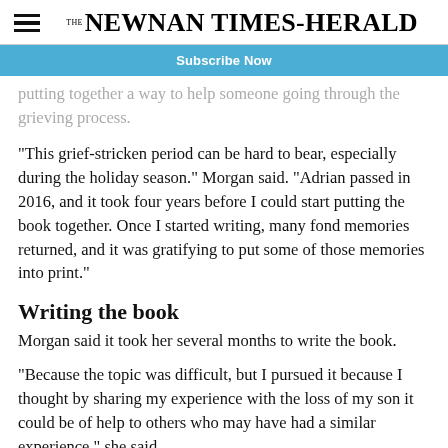THE NEWNAN TIMES-HERALD
Subscribe Now
…putting together a way to help someone going through the grieving process.
“This grief-stricken period can be hard to bear, especially during the holiday season.” Morgan said. “Adrian passed in 2016, and it took four years before I could start putting the book together. Once I started writing, many fond memories returned, and it was gratifying to put some of those memories into print.”
Writing the book
Morgan said it took her several months to write the book.
“Because the topic was difficult, but I pursued it because I thought by sharing my experience with the loss of my son it could be of help to others who may have had a similar experience,” she said.